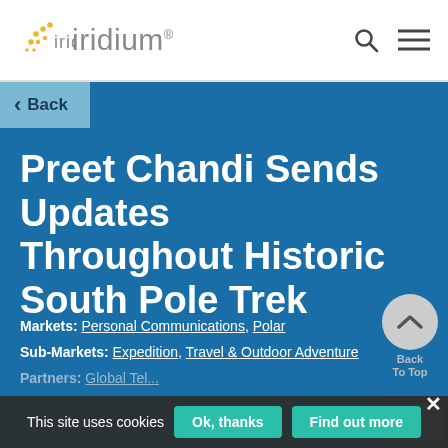[Figure (logo): Iridium logo with gold dots and gray text]
iridium
Back
Preet Chandi Sends Updates Throughout Historic South Pole Trek
Markets: Personal Communications, Polar
Sub-Markets: Expedition, Travel & Outdoor Adventure
Partners: Global Tel...
This site uses cookies  Ok, thanks  Find out more